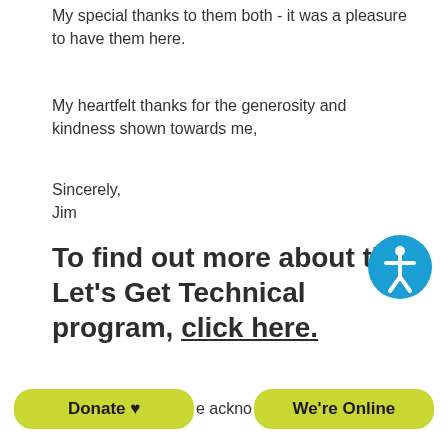My special thanks to them both - it was a pleasure to have them here.
My heartfelt thanks for the generosity and kindness shown towards me,
Sincerely,
Jim
To find out more about the Let's Get Technical program, click here.
Donate ♥
e ackno
We're Online